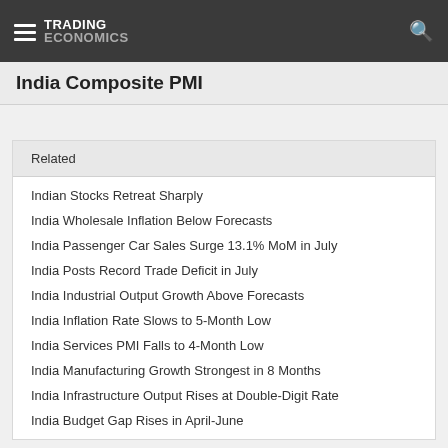TRADING ECONOMICS
India Composite PMI
Related
Indian Stocks Retreat Sharply
India Wholesale Inflation Below Forecasts
India Passenger Car Sales Surge 13.1% MoM in July
India Posts Record Trade Deficit in July
India Industrial Output Growth Above Forecasts
India Inflation Rate Slows to 5-Month Low
India Services PMI Falls to 4-Month Low
India Manufacturing Growth Strongest in 8 Months
India Infrastructure Output Rises at Double-Digit Rate
India Budget Gap Rises in April-June